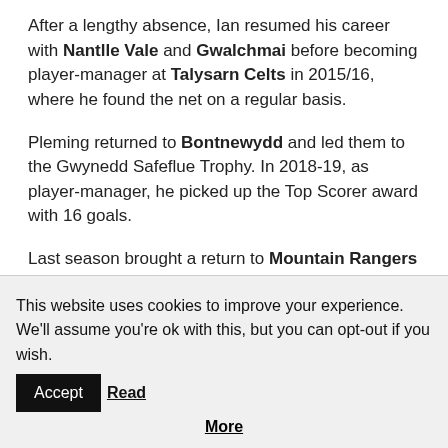After a lengthy absence, Ian resumed his career with Nantlle Vale and Gwalchmai before becoming player-manager at Talysarn Celts in 2015/16, where he found the net on a regular basis.
Pleming returned to Bontnewydd and led them to the Gwynedd Safeflue Trophy. In 2018-19, as player-manager, he picked up the Top Scorer award with 16 goals.
Last season brought a return to Mountain Rangers under manager Alex Philp.
Happy birthday Chops – have a great day.
This website uses cookies to improve your experience. We'll assume you're ok with this, but you can opt-out if you wish. Accept Read More